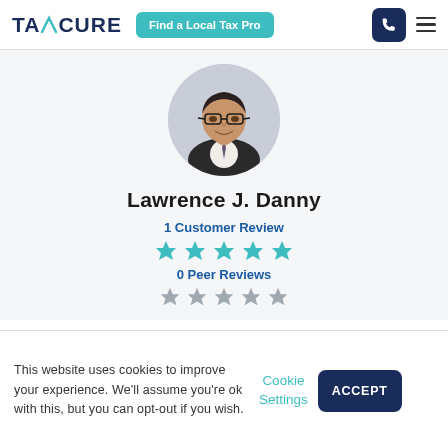TAXCURE — Find a Local Tax Pro
[Figure (photo): Headshot of Lawrence J. Danny, a middle-aged man wearing glasses and a suit, displayed in a circular frame]
Lawrence J. Danny
1 Customer Review
[Figure (other): 5 teal/cyan star rating icons]
0 Peer Reviews
[Figure (other): 5 grey star rating icons]
This website uses cookies to improve your experience. We'll assume you're ok with this, but you can opt-out if you wish.